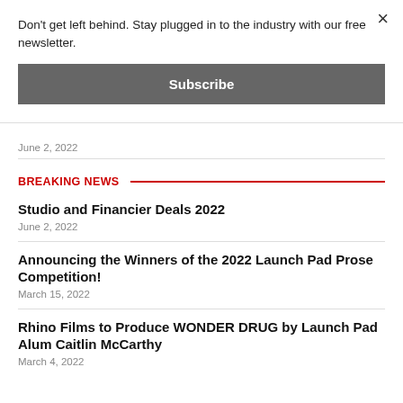Don't get left behind. Stay plugged in to the industry with our free newsletter.
Subscribe
June 2, 2022
BREAKING NEWS
Studio and Financier Deals 2022
June 2, 2022
Announcing the Winners of the 2022 Launch Pad Prose Competition!
March 15, 2022
Rhino Films to Produce WONDER DRUG by Launch Pad Alum Caitlin McCarthy
March 4, 2022